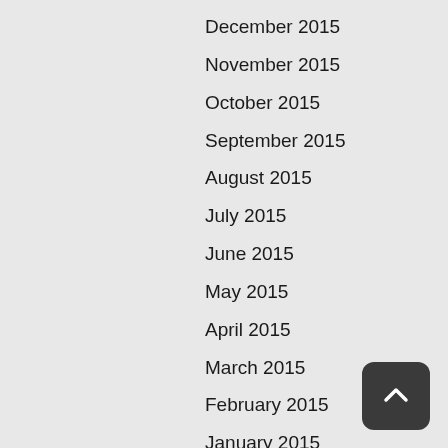December 2015
November 2015
October 2015
September 2015
August 2015
July 2015
June 2015
May 2015
April 2015
March 2015
February 2015
January 2015
December 2014
November 2014
October 2014
September 2014
August 2014